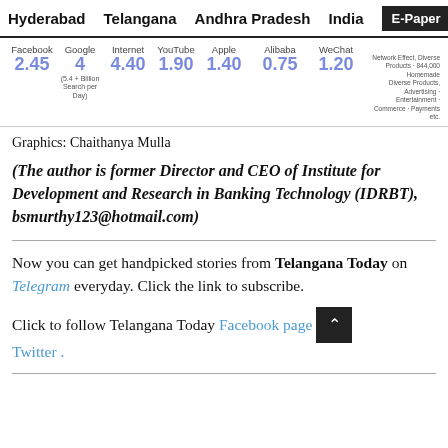Hyderabad  Telangana  Andhra Pradesh  India  E-Paper
[Figure (infographic): Company market value infographic showing Facebook 2.45, Google 4 (5.4+Billion Search per Day), Internet 4.40, YouTube 1.90, Apple 1.40, Alibaba 0.75, WeChat 1.20 with note about Network Effect, Diverse Products, 844,000 Homemade Diverse Products, Advertising, Entertainment, Commerce, Payments etc.]
Graphics: Chaithanya Mulla
(The author is former Director and CEO of Institute for Development and Research in Banking Technology (IDRBT), bsmurthy123@hotmail.com)
Now you can get handpicked stories from Telangana Today on Telegram everyday. Click the link to subscribe.
Click to follow Telangana Today Facebook page Twitter .